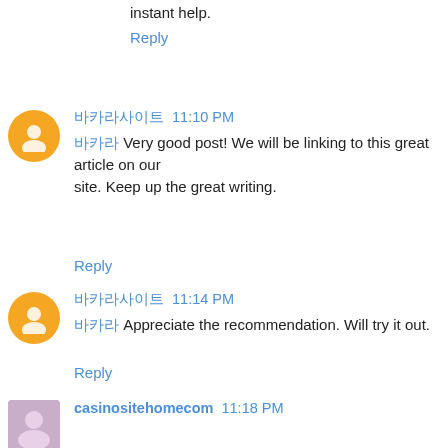instant help.
Reply
바카라사이트  11:10 PM
바카라 Very good post! We will be linking to this great article on our site. Keep up the great writing.
Reply
바카라사이트  11:14 PM
바카라 Appreciate the recommendation. Will try it out.
Reply
casinositehomecom  11:18 PM